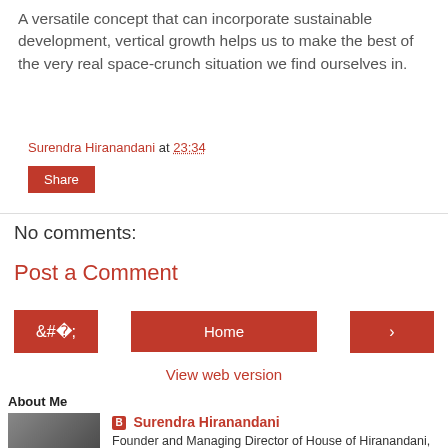A versatile concept that can incorporate sustainable development, vertical growth helps us to make the best of the very real space-crunch situation we find ourselves in.
Surendra Hiranandani at 23:34
Share
No comments:
Post a Comment
Home
View web version
About Me
Surendra Hiranandani
Founder and Managing Director of House of Hiranandani, has the unparalleled distinction of